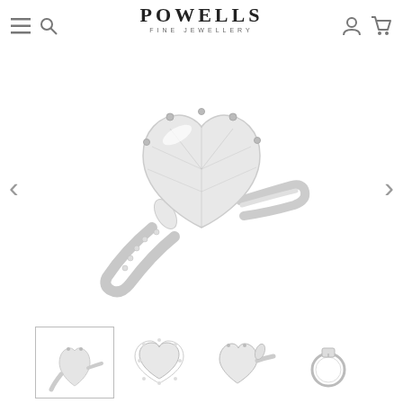[Figure (logo): Powells Fine Jewellery logo with hamburger menu, search, account and cart icons]
[Figure (photo): Large close-up photo of a heart-shaped diamond ring with side stones and pavé band in platinum/white gold, with left and right navigation arrows]
[Figure (photo): Four thumbnail images of the same diamond ring from different angles: front angled, top-down spread, front close, and side profile/circle view]